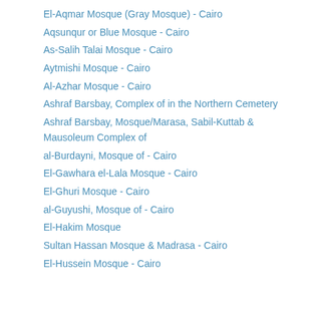El-Aqmar Mosque (Gray Mosque) - Cairo
Aqsunqur or Blue Mosque - Cairo
As-Salih Talai Mosque - Cairo
Aytmishi Mosque - Cairo
Al-Azhar Mosque - Cairo
Ashraf Barsbay, Complex of in the Northern Cemetery
Ashraf Barsbay, Mosque/Marasa, Sabil-Kuttab & Mausoleum Complex of
al-Burdayni, Mosque of - Cairo
El-Gawhara el-Lala Mosque - Cairo
El-Ghuri Mosque - Cairo
al-Guyushi, Mosque of - Cairo
El-Hakim Mosque
Sultan Hassan Mosque & Madrasa - Cairo
El-Hussein Mosque - Cairo